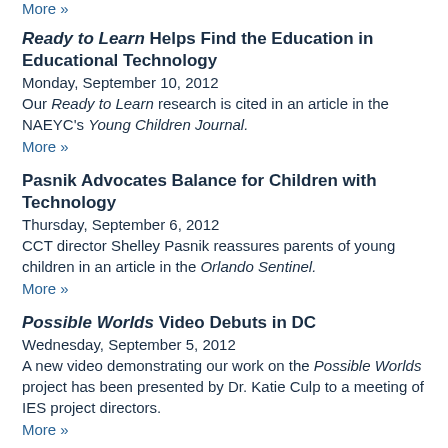More »
Ready to Learn Helps Find the Education in Educational Technology
Monday, September 10, 2012
Our Ready to Learn research is cited in an article in the NAEYC's Young Children Journal.
More »
Pasnik Advocates Balance for Children with Technology
Thursday, September 6, 2012
CCT director Shelley Pasnik reassures parents of young children in an article in the Orlando Sentinel.
More »
Possible Worlds Video Debuts in DC
Wednesday, September 5, 2012
A new video demonstrating our work on the Possible Worlds project has been presented by Dr. Katie Culp to a meeting of IES project directors.
More »
Putting Online Algebra into the Equation